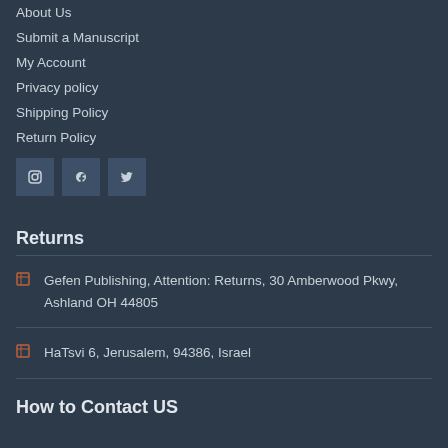About Us
Submit a Manuscript
My Account
Privacy policy
Shipping Policy
Return Policy
[Figure (other): Three social media icon buttons in square dark blue boxes]
Returns
Gefen Publishing, Attention: Returns, 30 Amberwood Pkwy, Ashland OH 44805
HaTsvi 6, Jerusalem, 94386, Israel
How to Contact US